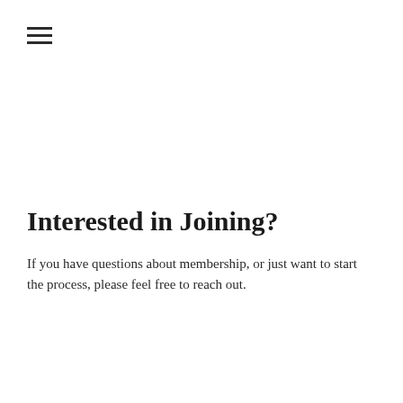[Figure (other): Hamburger menu icon with three horizontal lines]
Interested in Joining?
If you have questions about membership, or just want to start the process, please feel free to reach out.